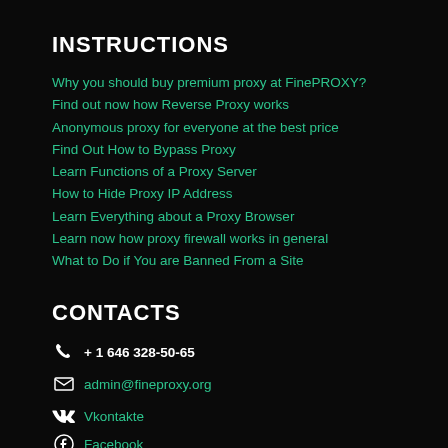INSTRUCTIONS
Why you should buy premium proxy at FinePROXY?
Find out now how Reverse Proxy works
Anonymous proxy for everyone at the best price
Find Out How to Bypass Proxy
Learn Functions of a Proxy Server
How to Hide Proxy IP Address
Learn Everything about a Proxy Browser
Learn now how proxy firewall works in general
What to Do if You are Banned From a Site
CONTACTS
+ 1 646 328-50-65
admin@fineproxy.org
Vkontakte
Facebook
Telegram